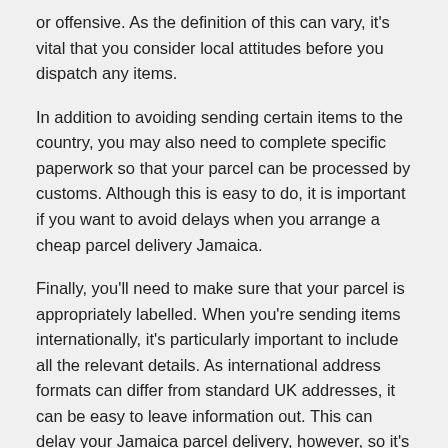or offensive. As the definition of this can vary, it's vital that you consider local attitudes before you dispatch any items.
In addition to avoiding sending certain items to the country, you may also need to complete specific paperwork so that your parcel can be processed by customs. Although this is easy to do, it is important if you want to avoid delays when you arrange a cheap parcel delivery Jamaica.
Finally, you'll need to make sure that your parcel is appropriately labelled. When you're sending items internationally, it's particularly important to include all the relevant details. As international address formats can differ from standard UK addresses, it can be easy to leave information out. This can delay your Jamaica parcel delivery, however, so it's important to check that you've added all of the recipient's details.
Whilst most of the country does not use a postal code system, Kingston does use sector codes. Normally made up of just 1 or 2 digits, these should be added to Kingston addresses so that deliveries can be made in a timely fashion.
You should, of course, use the recipient's district, town or province